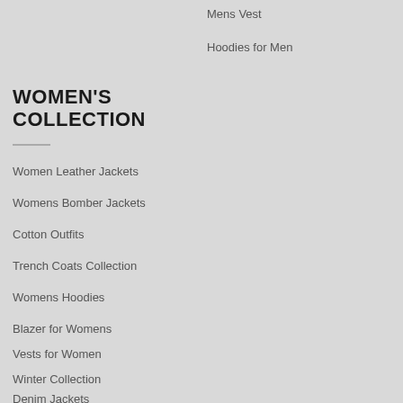Mens Vest
Hoodies for Men
WOMEN'S COLLECTION
Women Leather Jackets
Womens Bomber Jackets
Cotton Outfits
Trench Coats Collection
Womens Hoodies
Blazer for Womens
Vests for Women
Winter Collection
Denim Jackets